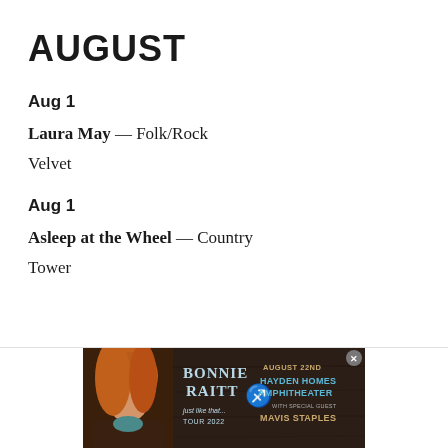AUGUST
Aug 1
Laura May — Folk/Rock
Velvet
Aug 1
Asleep at the Wheel — Country
Tower
[Figure (photo): Advertisement banner for Bonnie Raitt 'Just Like That... Tour 2022' showing artist photo on left, with text 'August 22nd Hayden Homes Amphitheater with Special Guest Mavis Staples' on right]